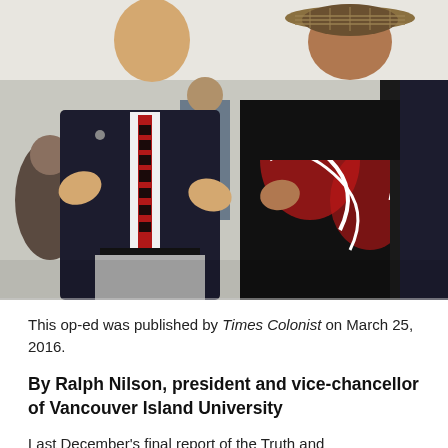[Figure (photo): Two people standing together; a man in a dark suit with a decorative red and black patterned tie, and a woman wearing a black sleeveless top and a red, black, and white patterned Indigenous-design dress, with a woven hat. Both have their hands raised in a gesture.]
This op-ed was published by Times Colonist on March 25, 2016.
By Ralph Nilson, president and vice-chancellor of Vancouver Island University
Last December's final report of the Truth and